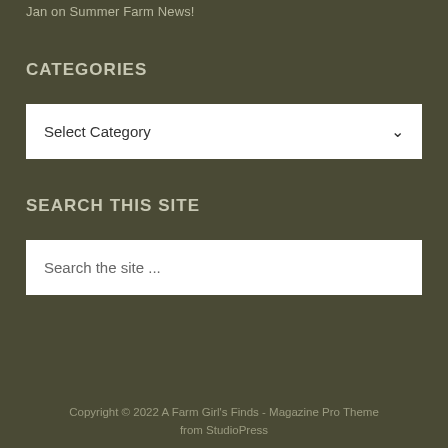Jan on Summer Farm News!
CATEGORIES
Select Category
SEARCH THIS SITE
Search the site ...
Copyright © 2022 A Farm Girl's Finds - Magazine Pro Theme from StudioPress